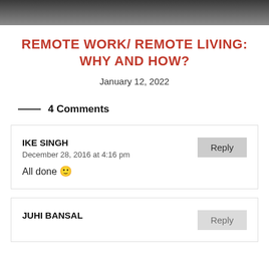[Figure (photo): Partial photo of a person, cropped at top of page]
REMOTE WORK/ REMOTE LIVING: WHY AND HOW?
January 12, 2022
4 Comments
IKE SINGH
December 28, 2016 at 4:16 pm
All done 🙂
JUHI BANSAL